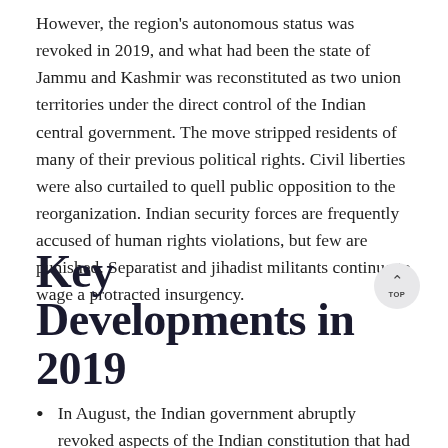However, the region's autonomous status was revoked in 2019, and what had been the state of Jammu and Kashmir was reconstituted as two union territories under the direct control of the Indian central government. The move stripped residents of many of their previous political rights. Civil liberties were also curtailed to quell public opposition to the reorganization. Indian security forces are frequently accused of human rights violations, but few are punished. Separatist and jihadist militants continue to wage a protracted insurgency.
Key Developments in 2019
In August, the Indian government abruptly revoked aspects of the Indian constitution that had...